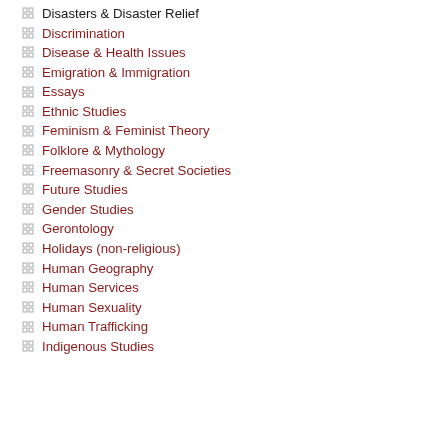Disasters & Disaster Relief
Discrimination
Disease & Health Issues
Emigration & Immigration
Essays
Ethnic Studies
Feminism & Feminist Theory
Folklore & Mythology
Freemasonry & Secret Societies
Future Studies
Gender Studies
Gerontology
Holidays (non-religious)
Human Geography
Human Services
Human Sexuality
Human Trafficking
Indigenous Studies